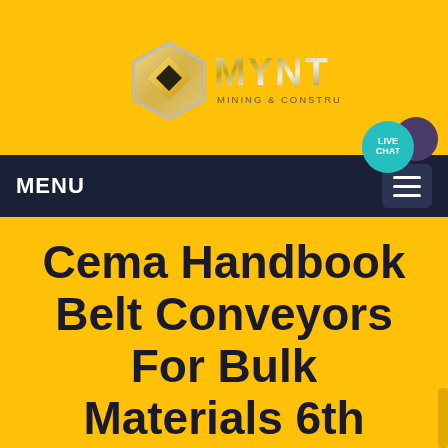[Figure (logo): MYNT Mining & Construction logo with silver hexagon/diamond shape and metallic text]
MENU
[Figure (other): Live Chat button bubble (teal circle) with purple speech bubble behind it, positioned top right of nav bar]
Cema Handbook Belt Conveyors For Bulk Materials 6th Edition
Home  /  Products